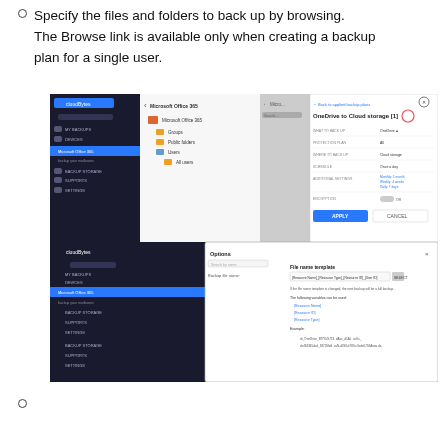Specify the files and folders to back up by browsing. The Browse link is available only when creating a backup plan for a single user.
[Figure (screenshot): Two overlapping screenshots of a cloud backup management interface (Acronis/CloudBerry style). The top screenshot shows a file browser with Microsoft Office 365 items and a backup plan details panel titled 'OneDrive to Cloud storage' with settings like schedule, retention, and an APPLY button. The bottom screenshot shows an Options dialog with a 'File name template' panel and backup file name variables like [Resource Name], [Resource ID], [Resource Type], with an example filename shown.]